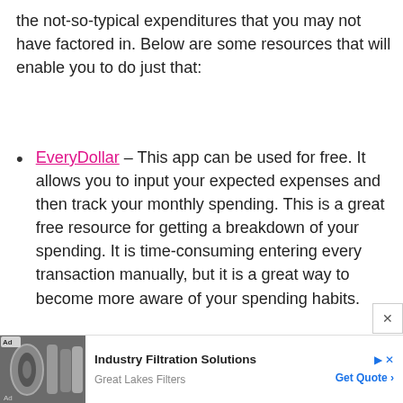the not-so-typical expenditures that you may not have factored in. Below are some resources that will enable you to do just that:
EveryDollar – This app can be used for free. It allows you to input your expected expenses and then track your monthly spending. This is a great free resource for getting a breakdown of your spending. It is time-consuming entering every transaction manually, but it is a great way to become more aware of your spending habits.
[Figure (other): Advertisement banner: Industry Filtration Solutions by Great Lakes Filters with Get Quote button and an image of industrial filter canisters]